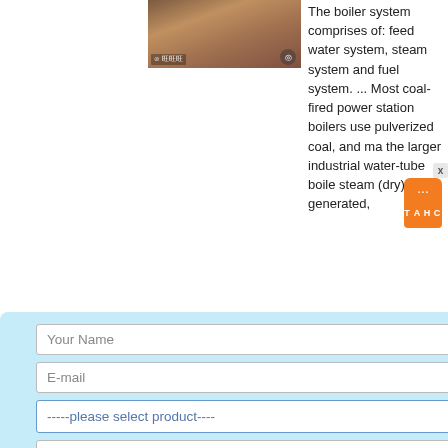[Figure (photo): Industrial boiler or railway track photo, partially visible at top of page]
The boiler system comprises of: feed water system, steam system and fuel system. ... Most coal-fired power station boilers use pulverized coal, and many the larger industrial water-tube boile steam (dry) generated,
[Figure (screenshot): Contact form modal overlay with light blue background containing fields: Your Name, E-mail, product select dropdown, capacity, More information button, and Submit button. Has X close button.]
S & THERMIC FLUID S – RETScreen
system comprises of: a feed em, steam system and fuel dized bed combustion boiler, Stoker fired boiler, Pulverized fue boiler,.
[Figure (photo): Industrial boiler image at bottom of page, partially visible]
Boiler Tph, Boiler Tph